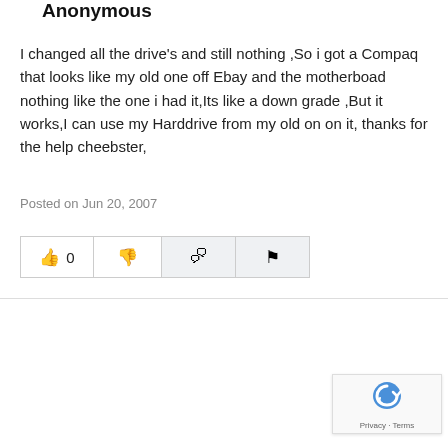Anonymous
I changed all the drive's and still nothing ,So i got a Compaq that looks like my old one off Ebay and the motherboad nothing like the one i had it,Its like a down grade ,But it works,I can use my Harddrive from my old on on it, thanks for the help cheebster,
Posted on Jun 20, 2007
[Figure (screenshot): Row of four buttons: thumbs up with count 0, thumbs down, comment bubble, and flag icon]
[Figure (screenshot): reCAPTCHA widget with Privacy and Terms links]